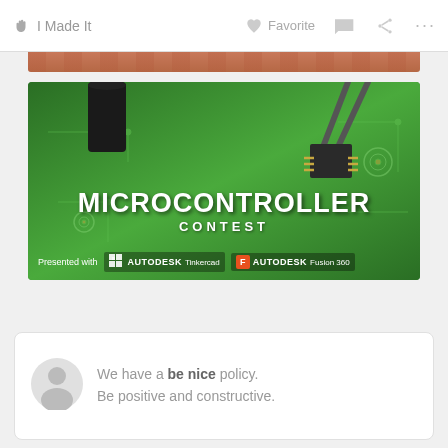I Made It   Favorite   ...
[Figure (photo): Partial top strip of a brown/orange textured image, cropped at the top.]
[Figure (photo): Microcontroller Contest banner: green circuit board background with a microchip being handled by tweezers; white bold text reads MICROCONTROLLER CONTEST; footer says Presented with AUTODESK Tinkercad and AUTODESK Fusion 360 logos.]
We have a be nice policy. Be positive and constructive.